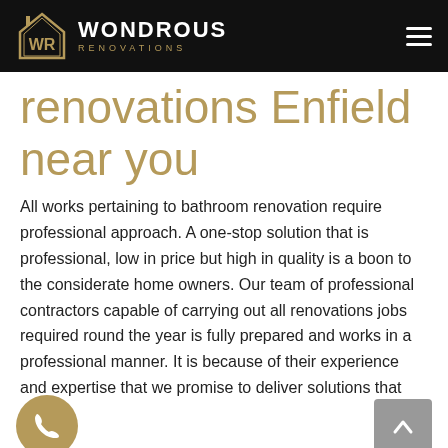WONDROUS RENOVATIONS
renovations Enfield near you
All works pertaining to bathroom renovation require professional approach. A one-stop solution that is professional, low in price but high in quality is a boon to the considerate home owners. Our team of professional contractors capable of carrying out all renovations jobs required round the year is fully prepared and works in a professional manner. It is because of their experience and expertise that we promise to deliver solutions that are: